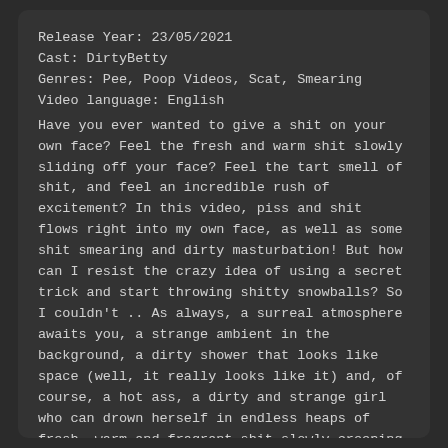Release Year: 23/05/2021
Cast: DirtyBetty
Genres: Pee, Poop Videos, Scat, Smearing
Video language: English
Have you ever wanted to give a shit on your own face? Feel the fresh and warm shit slowly sliding off your face? Feel the tart smell of shit, and feel an incredible rush of excitement? In this video, piss and shit flows right into my own face, as well as some shit smearing and dirty masturbation! But how can I resist the crazy idea of using a secret trick and start throwing shitty snowballs? So I couldn't .. As always, a surreal atmosphere awaits you, a strange ambient in the background, a dirty shower that looks like space (well, it really looks like it) and, of course, a hot ass, a dirty and strange girl who can drown herself in endless heaps of fresh, warm and fragrant shit slowly creeping out of the tight and her own hole! You will...